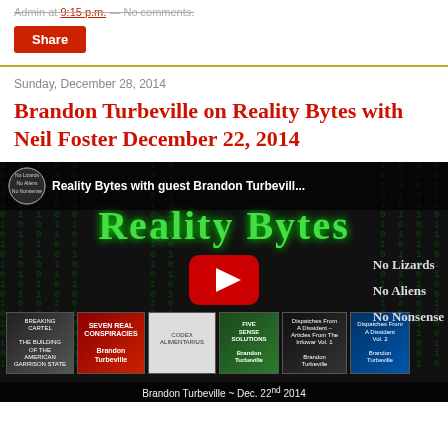Admin at 9:15 p.m. — No comments.
Share
Sunday, December 28, 2014
Brandon Turbeville on Reality Bytes with Neil Foster December 22, 2014
[Figure (screenshot): YouTube video thumbnail showing Reality Bytes show with guest Brandon Turbeville. Title bar reads 'Reality Bytes with guest Brandon Turbevill...' with No Lizards No Aliens No Nonsense logo. Large green 'Reality Bytes' text on dark matrix background. Several book covers shown at bottom including Seven Real Conspiracies, Five Sense Solutions, Dispatches From A Dissident volumes. Red YouTube play button in center. Text on right: No Lizards, No Aliens, No Nonsense. Bottom caption: Brandon Turbeville ~ Dec. 22nd 2014]